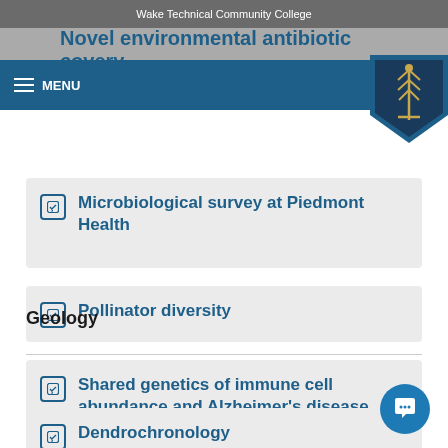Wake Technical Community College
Novel environmental antibiotic discovery
MENU
Microbiological survey at Piedmont Health
Pollinator diversity
Shared genetics of immune cell abundance and Alzheimer's disease
Geology
Dendrochronology